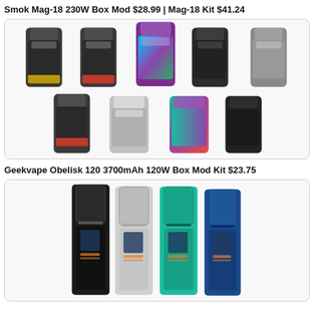Smok Mag-18 230W Box Mod $28.99 | Mag-18 Kit $41.24
[Figure (photo): Product photo showing 9 Smok Mag-18 vape kit devices in various color variants (black/gold, black/red, rainbow, black, silver, red/black, silver/chrome, multicolor, full black) arranged in two rows against white background.]
Geekvape Obelisk 120 3700mAh 120W Box Mod Kit $23.75
[Figure (photo): Product photo showing 4 Geekvape Obelisk 120 box mod kit devices in different color variants (black, silver, teal/green, blue) with tanks attached, arranged side by side.]